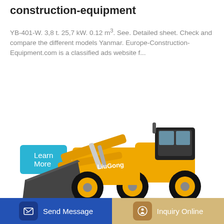construction-equipment
YB-401-W. 3,8 t. 25,7 kW. 0.12 m³. See. Detailed sheet. Check and compare the different models Yanmar. Europe-Construction-Equipment.com is a classified ads website f...
[Figure (illustration): Yellow LiuGong wheel loader/front-end loader with a large black bucket, shown in profile against a white background.]
Send Message
Inquiry Online